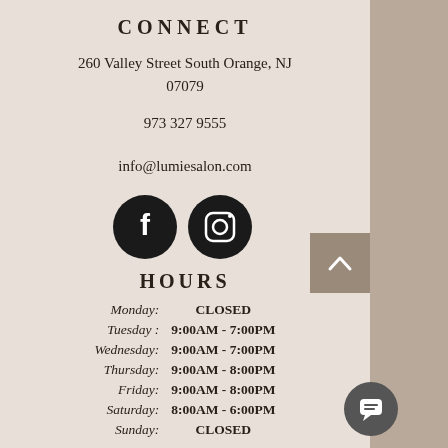CONNECT
260 Valley Street South Orange, NJ 07079
973 327 9555
info@lumiesalon.com
[Figure (illustration): Two social media icons: Facebook and Instagram, both circular with black backgrounds and white logos]
HOURS
| Monday: | CLOSED |
| Tuesday : | 9:00AM  -  7:00PM |
| Wednesday: | 9:00AM  -  7:00PM |
| Thursday: | 9:00AM  -  8:00PM |
| Friday: | 9:00AM  -  8:00PM |
| Saturday: | 8:00AM  -  6:00PM |
| Sunday: | CLOSED |